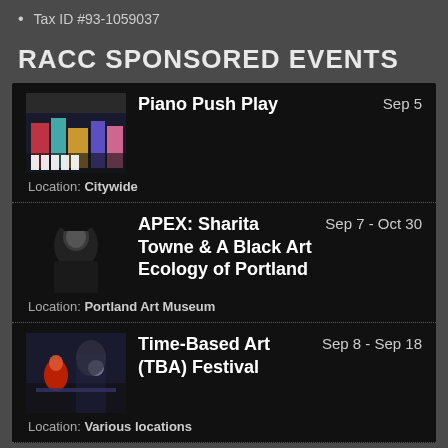Tax ID #93-1059037
RACC SPONSORED EVENTS
| Image | Event | Date | Location |
| --- | --- | --- | --- |
| [Piano image] | Piano Push Play | Sep 5 | Location: Citywide |
| [Apex image] | APEX: Sharita Towne & A Black Art Ecology of Portland | Sep 7 - Oct 30 | Location: Portland Art Museum |
| [TBA image] | Time-Based Art (TBA) Festival | Sep 8 - Sep 18 | Location: Various locations |
Click here to search for more RACC Sponsored Events